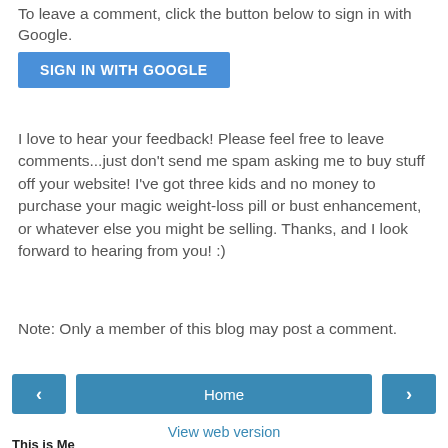To leave a comment, click the button below to sign in with Google.
[Figure (screenshot): Blue 'SIGN IN WITH GOOGLE' button]
I love to hear your feedback! Please feel free to leave comments...just don't send me spam asking me to buy stuff off your website! I've got three kids and no money to purchase your magic weight-loss pill or bust enhancement, or whatever else you might be selling. Thanks, and I look forward to hearing from you! :)
Note: Only a member of this blog may post a comment.
[Figure (screenshot): Navigation bar with left arrow button, Home button, and right arrow button]
View web version
This is Me